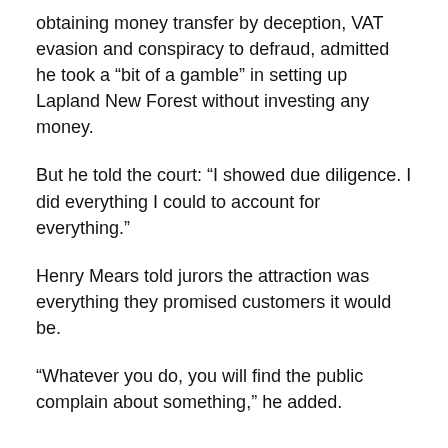obtaining money transfer by deception, VAT evasion and conspiracy to defraud, admitted he took a “bit of a gamble” in setting up Lapland New Forest without investing any money.
But he told the court: “I showed due diligence. I did everything I could to account for everything.”
Henry Mears told jurors the attraction was everything they promised customers it would be.
“Whatever you do, you will find the public complain about something,” he added.